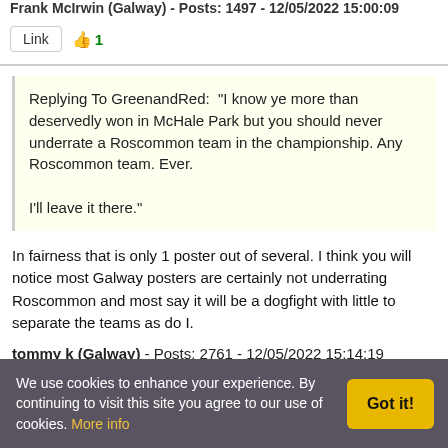Frank McIrwin (Galway) - Posts: 1497 - 12/05/2022 15:00:09
Link  👍1
Replying To GreenandRed: "I know ye more than deservedly won in McHale Park but you should never underrate a Roscommon team in the championship. Any Roscommon team. Ever.

I'll leave it there."
In fairness that is only 1 poster out of several. I think you will notice most Galway posters are certainly not underrating Roscommon and most say it will be a dogfight with little to separate the teams as do I.
tommy k (Galway) - Posts: 2761 - 12/05/2022 15:14:19
We use cookies to enhance your experience. By continuing to visit this site you agree to our use of cookies. More info